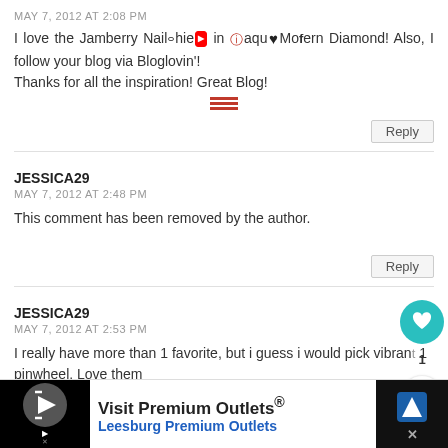MAY 7, 2012 AT 2:08 PM
I love the Jamberry Nail [icons] in Aqua Modern Diamond! Also, I follow your blog via Bloglovin'! Thanks for all the inspiration! Great Blog!
Reply
JESSICA29
MAY 7, 2012 AT 2:48 PM
This comment has been removed by the author.
Reply
JESSICA29
MAY 7, 2012 AT 2:53 PM
I really have more than 1 favorite, but i guess i would pick vibrant pinwheel. Love them
Visit Premium Outlets® Leesburg Premium Outlets